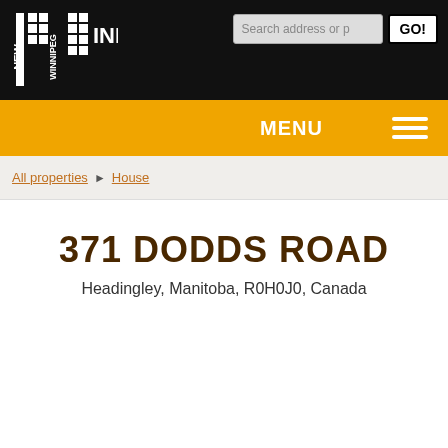New Winnipeg INFO - Search address or p - GO!
MENU
All properties > House
371 DODDS ROAD
Headingley, Manitoba, R0H0J0, Canada